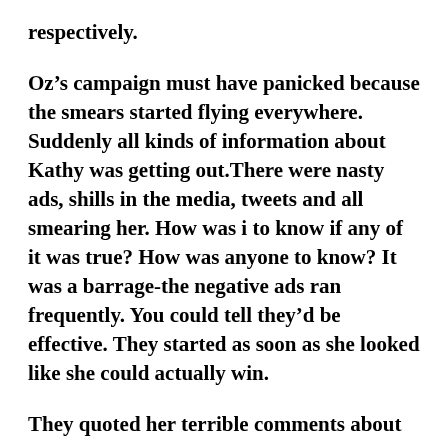respectively.
Oz’s campaign must have panicked because the smears started flying everywhere. Suddenly all kinds of information about Kathy was getting out.There were nasty ads, shills in the media, tweets and all smearing her. How was i to know if any of it was true? How was anyone to know? It was a barrage-the negative ads ran frequently. You could tell they’d be effective. They started as soon as she looked like she could actually win.
They quoted her terrible comments about